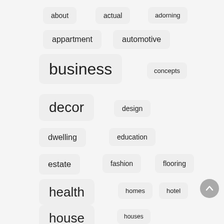[Figure (infographic): Tag cloud / word cloud showing category tags of varying sizes: about, actual, adorning, appartment, automotive, business (large), concepts, decor (large), design, dwelling, education, estate, fashion, flooring, health (large), homes, hotel, house (large), houses]
about
actual
adorning
appartment
automotive
business
concepts
decor
design
dwelling
education
estate
fashion
flooring
health
homes
hotel
house
houses